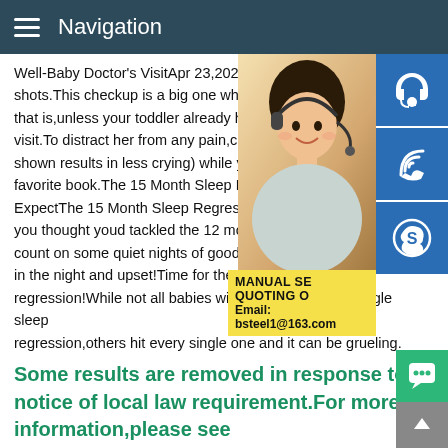Navigation
Well-Baby Doctor's VisitApr 23,2020 15mo shots.This checkup is a big one when it co that is,unless your toddler already had the visit.To distract her from any pain,cuddle h shown results in less crying) while you sin favorite book.The 15 Month Sleep Regres ExpectThe 15 Month Sleep Regression W you thought youd tackled the 12 month sle count on some quiet nights of good sleep, in the night and upset!Time for the 15 mo regression!While not all babies will experience every single sleep regression,others hit every single one and it can be grueling.
[Figure (photo): Woman with headset smiling, customer service representative]
[Figure (infographic): Blue sidebar icons: customer service headset, phone/wifi, Skype logo]
[Figure (infographic): Yellow promo box: MANUAL SE... QUOTING O... Email: bsteel1@163.com]
Some results are removed in response to a notice of local law requirement.For more information,please see
[Figure (infographic): Green chat button and grey scroll-to-top button]